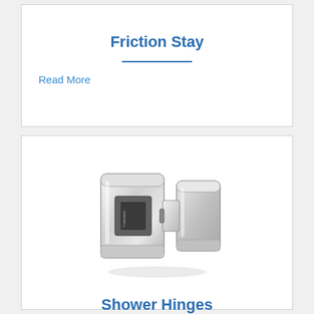Friction Stay
Read More
[Figure (photo): Chrome polished shower hinge hardware product photo showing a 180-degree glass-to-glass hinge connector with reflective stainless steel finish]
Shower Hinges